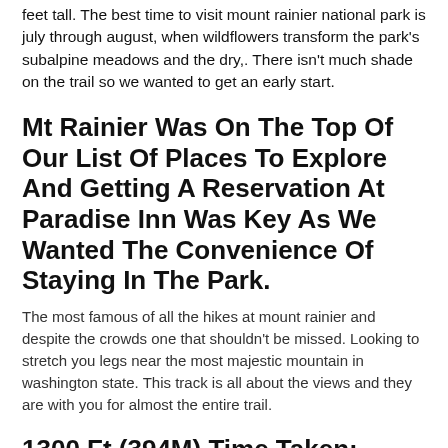feet tall. The best time to visit mount rainier national park is july through august, when wildflowers transform the park's subalpine meadows and the dry,. There isn't much shade on the trail so we wanted to get an early start.
Mt Rainier Was On The Top Of Our List Of Places To Explore And Getting A Reservation At Paradise Inn Was Key As We Wanted The Convenience Of Staying In The Park.
The most famous of all the hikes at mount rainier and despite the crowds one that shouldn't be missed. Looking to stretch you legs near the most majestic mountain in washington state. This track is all about the views and they are with you for almost the entire trail.
1300 Ft (394M) Time Taken:
Tolmie peak is among our favorite hikes on mount rainier. It's a